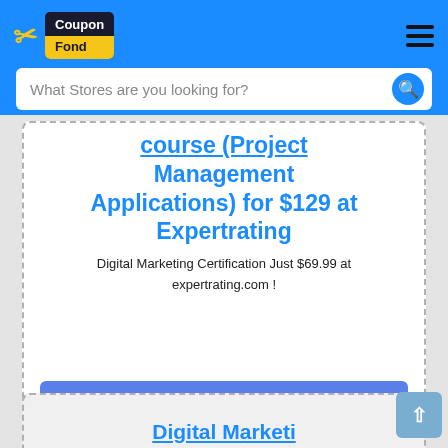CouponFond
course (Project Management Applications) for $129 at Expertrating
Digital Marketing Certification Just $69.99 at expertrating.com !
Get Deal
Digital Marketing...